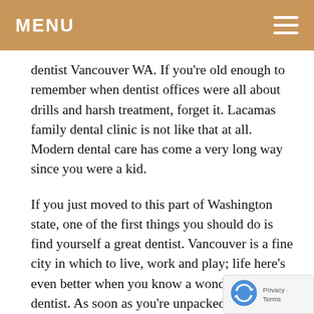MENU
dentist Vancouver WA. If you're old enough to remember when dentist offices were all about drills and harsh treatment, forget it. Lacamas family dental clinic is not like that at all. Modern dental care has come a very long way since you were a kid.
If you just moved to this part of Washington state, one of the first things you should do is find yourself a great dentist. Vancouver is a fine city in which to live, work and play; life here's even better when you know a wonderful dentist. As soon as you're unpacked, give us a call and make an appointment. If you have children, please schedule checkups for them, too. Lacamas family dental clinic is here to offer gentle and effective dentistry to all members of the family. Our dentist